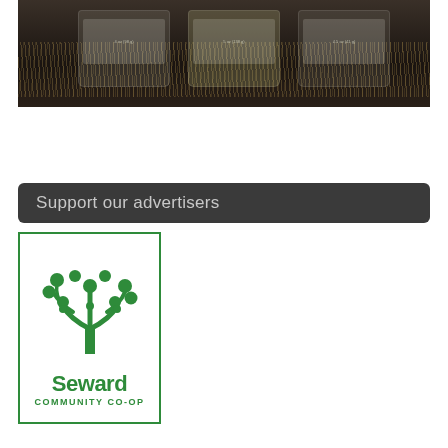[Figure (photo): Dark photograph of three labeled jars sitting in straw/hay inside a box]
Support our advertisers
[Figure (logo): Seward Community Co-op logo: green tree illustration above the text 'Seward' in bold green, with 'COMMUNITY CO-OP' below in smaller green letters, all within a green border rectangle]